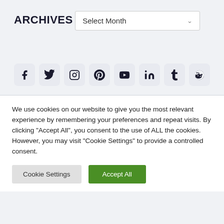ARCHIVES
Select Month
[Figure (infographic): A row of 8 social media icon buttons (Facebook, Twitter, Instagram, Pinterest, YouTube, LinkedIn, Tumblr, Reddit) displayed as rounded square icons with dark symbols on light gray backgrounds.]
We use cookies on our website to give you the most relevant experience by remembering your preferences and repeat visits. By clicking "Accept All", you consent to the use of ALL the cookies. However, you may visit "Cookie Settings" to provide a controlled consent.
Cookie Settings
Accept All